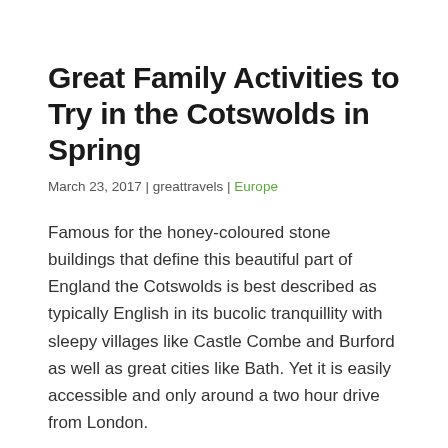Great Family Activities to Try in the Cotswolds in Spring
March 23, 2017 | greattravels | Europe
Famous for the honey-coloured stone buildings that define this beautiful part of England the Cotswolds is best described as typically English in its bucolic tranquillity with sleepy villages like Castle Combe and Burford as well as great cities like Bath. Yet it is easily accessible and only around a two hour drive from London.